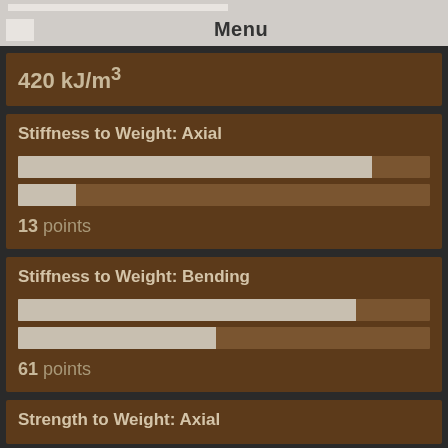Menu
420 kJ/m³
Stiffness to Weight: Axial
13 points
Stiffness to Weight: Bending
61 points
Strength to Weight: Axial